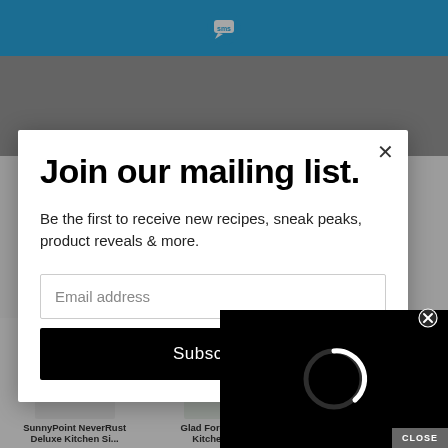[Figure (screenshot): Blue top navigation bar with SMS chat bubble logo icon in white]
Join our mailing list.
Be the first to receive new recipes, sneak peaks, product reveals & more.
Email address
Subscribe
[Figure (screenshot): Black video overlay with white loading spinner circle and CLOSE button]
SunnyPoint NeverRust Deluxe Kitchen Si...
Glad ForceFlex Tall Kitchen Bag...
2 Pack - 4.5" Top / 3" Bottom - Plast Chai...